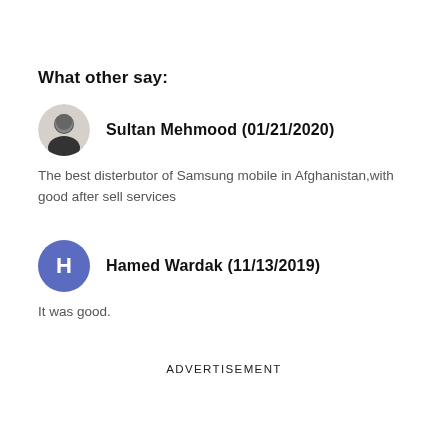What other say:
Sultan Mehmood (01/21/2020)
The best disterbutor of Samsung mobile in Afghanistan,with good after sell services
Hamed Wardak (11/13/2019)
It was good.
ADVERTISEMENT